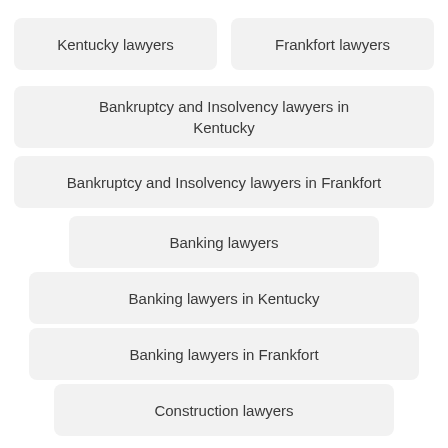Kentucky lawyers
Frankfort lawyers
Bankruptcy and Insolvency lawyers in Kentucky
Bankruptcy and Insolvency lawyers in Frankfort
Banking lawyers
Banking lawyers in Kentucky
Banking lawyers in Frankfort
Construction lawyers